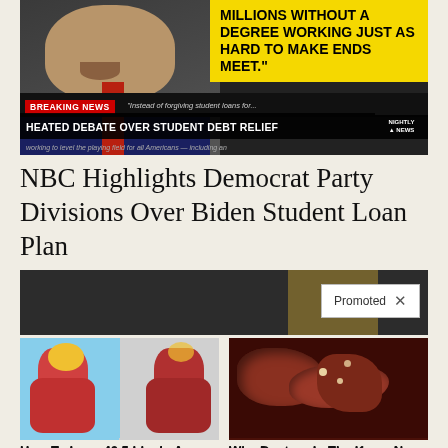[Figure (screenshot): NBC Nightly News screenshot showing a man speaking with yellow chyron reading 'MILLIONS WITHOUT A DEGREE WORKING JUST AS HARD TO MAKE ENDS MEET.' Breaking news banner: 'HEATED DEBATE OVER STUDENT DEBT RELIEF']
NBC Highlights Democrat Party Divisions Over Biden Student Loan Plan
[Figure (screenshot): Dark background screenshot with 'Promoted X' badge overlay]
[Figure (photo): Medical illustration showing muscle and fat anatomy comparison]
How To Lose 40.5 Lbs In A Month (Eat This Once Every Day)
44,086
[Figure (photo): Close-up photo of internal organs]
Why Doctors In The Know No Longer Prescribe Metformin
117,125